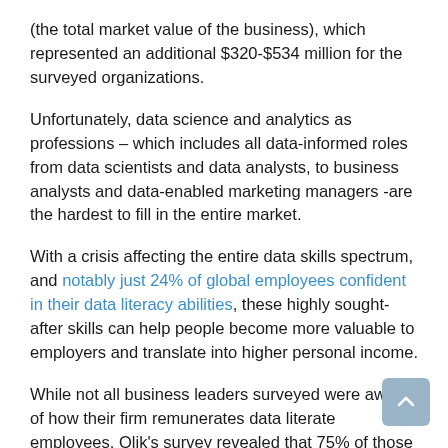(the total market value of the business), which represented an additional $320-$534 million for the surveyed organizations.
Unfortunately, data science and analytics as professions – which includes all data-informed roles from data scientists and data analysts, to business analysts and data-enabled marketing managers -are the hardest to fill in the entire market.
With a crisis affecting the entire data skills spectrum, and notably just 24% of global employees confident in their data literacy abilities, these highly sought-after skills can help people become more valuable to employers and translate into higher personal income.
While not all business leaders surveyed were aware of how their firm remunerates data literate employees, Qlik's survey revealed that 75% of those up to speed on their